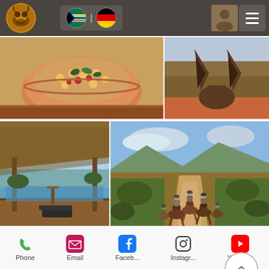Safari lodge website header with logo, South African and German flags, and hamburger menu
[Figure (photo): Food photo: colorful salad bowl with chickpeas, tomatoes and herbs on a wooden table]
[Figure (photo): Partial view of a horse's ears on a red dirt path in the bush]
[Figure (photo): Safari lodge pool deck with thatched roof overlooking a waterhole]
[Figure (photo): Group of riders on horseback riding along a bush trail with mountains in background]
The Ride & Dine Safari is for experienced riders only. We offer this exclusive Safari during special weeks that we have set aside throughout the year or after advance reservation. Please contact us
Phone | Email | Faceb... | Instagr... | YouTube